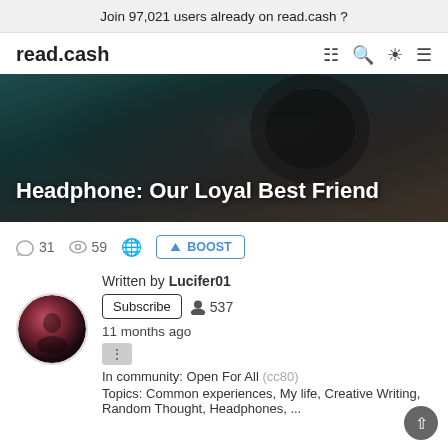Join 97,021 users already on read.cash
read.cash
[Figure (photo): Hero banner image showing dark blurred background with headphones silhouette, teal and dark tones]
Headphone: Our Loyal Best Friend
31  59  [globe icon]  BOOST
Written by Lucifer01
Subscribe  537
11 months ago
In community: Open For All (cc80)
Topics: Common experiences, My life, Creative Writing, Random Thought, Headphones, ...